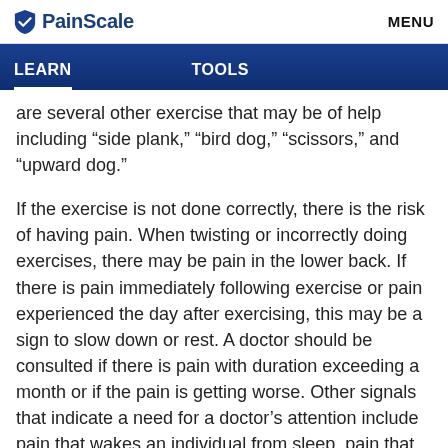PainScale — MENU
LEARN    TOOLS
are several other exercise that may be of help including “side plank,” “bird dog,” “scissors,” and “upward dog.”
If the exercise is not done correctly, there is the risk of having pain. When twisting or incorrectly doing exercises, there may be pain in the lower back. If there is pain immediately following exercise or pain experienced the day after exercising, this may be a sign to slow down or rest. A doctor should be consulted if there is pain with duration exceeding a month or if the pain is getting worse. Other signals that indicate a need for a doctor’s attention include pain that wakes an individual from sleep, pain that is